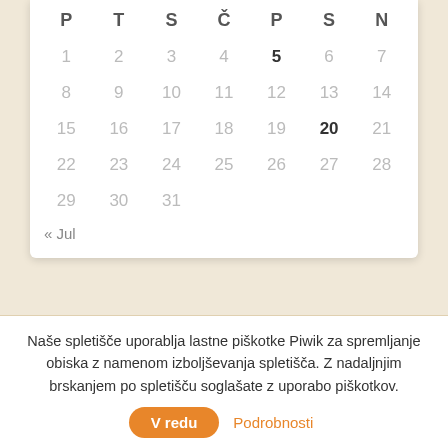| P | T | S | Č | P | S | N |
| --- | --- | --- | --- | --- | --- | --- |
| 1 | 2 | 3 | 4 | 5 | 6 | 7 |
| 8 | 9 | 10 | 11 | 12 | 13 | 14 |
| 15 | 16 | 17 | 18 | 19 | 20 | 21 |
| 22 | 23 | 24 | 25 | 26 | 27 | 28 |
| 29 | 30 | 31 |  |  |  |  |
« Jul
Naše spletišče uporablja lastne piškotke Piwik za spremljanje obiska z namenom izboljševanja spletišča. Z nadaljnjim brskanjem po spletišču soglašate z uporabo piškotkov.
V redu   Podrobnosti